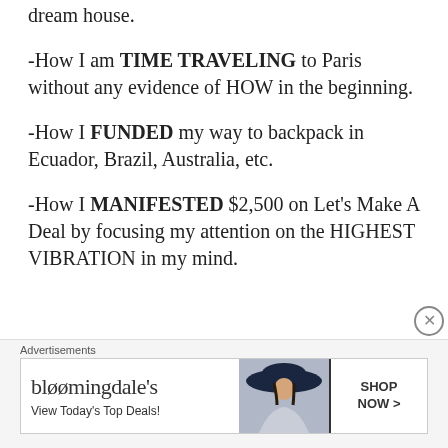dream house.
-How I am TIME TRAVELING to Paris without any evidence of HOW in the beginning.
-How I FUNDED my way to backpack in Ecuador, Brazil, Australia, etc.
-How I MANIFESTED $2,500 on Let’s Make A Deal by focusing my attention on the HIGHEST VIBRATION in my mind.
[Figure (other): Bloomingdale's advertisement banner: 'View Today’s Top Deals!' with SHOP NOW > button and woman in large hat image]